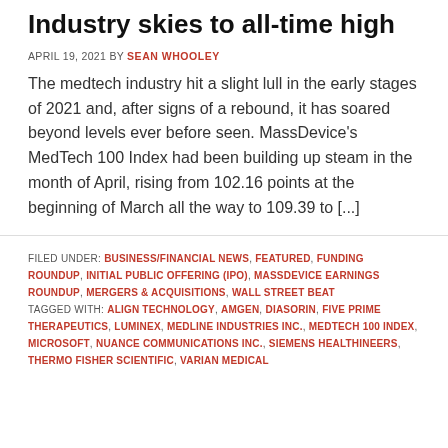Industry skies to all-time high
APRIL 19, 2021 BY SEAN WHOOLEY
The medtech industry hit a slight lull in the early stages of 2021 and, after signs of a rebound, it has soared beyond levels ever before seen. MassDevice's MedTech 100 Index had been building up steam in the month of April, rising from 102.16 points at the beginning of March all the way to 109.39 to [...]
FILED UNDER: BUSINESS/FINANCIAL NEWS, FEATURED, FUNDING ROUNDUP, INITIAL PUBLIC OFFERING (IPO), MASSDEVICE EARNINGS ROUNDUP, MERGERS & ACQUISITIONS, WALL STREET BEAT
TAGGED WITH: ALIGN TECHNOLOGY, AMGEN, DIASORIN, FIVE PRIME THERAPEUTICS, LUMINEX, MEDLINE INDUSTRIES INC., MEDTECH 100 INDEX, MICROSOFT, NUANCE COMMUNICATIONS INC., SIEMENS HEALTHINEERS, THERMO FISHER SCIENTIFIC, VARIAN MEDICAL